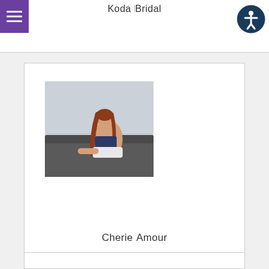Koda Bridal
[Figure (photo): Photo of a woman with long red-brown hair sitting on a dark sofa near large windows, wearing a navy top and white bottoms]
Cherie Amour